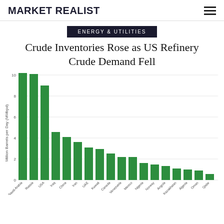MARKET REALIST
ENERGY & UTILITIES
Crude Inventories Rose as US Refinery Crude Demand Fell
[Figure (bar-chart): Million Barrels per Day (MMbpd)]